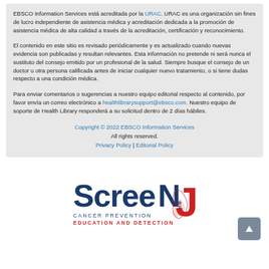EBSCO Information Services está acreditada por la URAC. URAC es una organización sin fines de lucro independiente de asistencia médica y acreditación dedicada a la promoción de asistencia médica de alta calidad a través de la acreditación, certificación y reconocimiento.
El contenido en este sitio es revisado periódicamente y es actualizado cuando nuevas evidencia son publicadas y resultan relevantes. Esta información no pretende ni será nunca el sustituto del consejo emitido por un profesional de la salud. Siempre busque el consejo de un doctor u otra persona calificada antes de iniciar cualquier nuevo tratamiento, o si tiene dudas respecto a una condición médica.
Para enviar comentarios o sugerencias a nuestro equipo editorial respecto al contenido, por favor envía un correo electrónico a healthlibrarysupport@ebsco.com. Nuestro equipo de soporte de Health Library responderá a su solicitud dentro de 2 días hábiles.
Copyright © 2022 EBSCO Information Services
All rights reserved.
Privacy Policy | Editorial Policy
[Figure (logo): ScreenJ Cancer Prevention Education and Detection logo — NJ state outline with blue 'ScreeN' text and red 'J' letter]